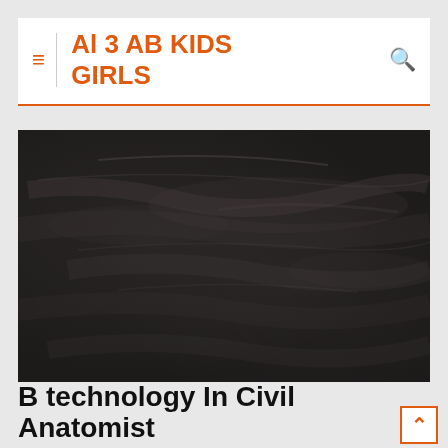Al 3 AB KIDS GIRLS
[Figure (photo): Dark chalkboard / blackboard texture with chalk smears and marks, empty board]
B technology In Civil Anatomist